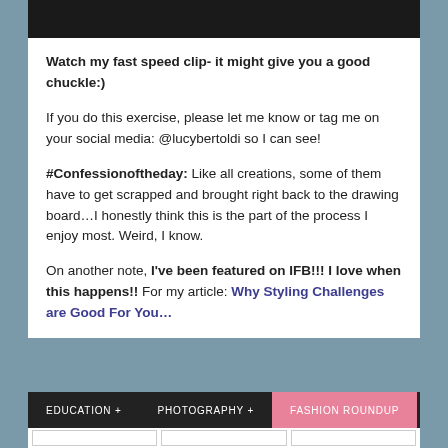[Figure (photo): Dark image at top of page, partially cropped]
Watch my fast speed clip- it might give you a good chuckle:)
If you do this exercise, please let me know or tag me on your social media: @lucybertoldi so I can see!
#Confessionoftheday: Like all creations, some of them have to get scrapped and brought right back to the drawing board…I honestly think this is the part of the process I enjoy most. Weird, I know.
On another note, I've been featured on IFB!!! I love when this happens!! For my article: Why Styling Challenges are Good For You…
EDUCATION +   PHOTOGRAPHY +   FASHION ROUNDUP